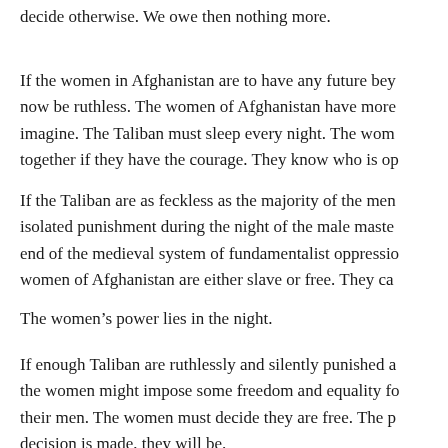decide otherwise. We owe then nothing more.
If the women in Afghanistan are to have any future bey now be ruthless. The women of Afghanistan have more imagine. The Taliban must sleep every night. The wom together if they have the courage. They know who is op
If the Taliban are as feckless as the majority of the men isolated punishment during the night of the male maste end of the medieval system of fundamentalist oppressio women of Afghanistan are either slave or free. They ca
The women’s power lies in the night.
If enough Taliban are ruthlessly and silently punished a the women might impose some freedom and equality fo their men. The women must decide they are free. The p decision is made, they will be.